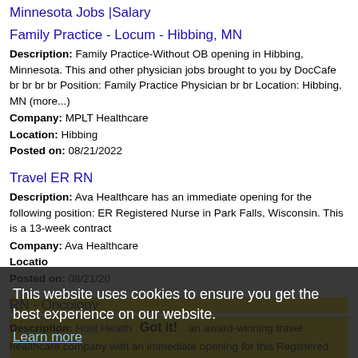Minnesota Jobs |Salary
Family Practice - Locum - Hibbing, MN
Description: Family Practice-Without OB opening in Hibbing, Minnesota. This and other physician jobs brought to you by DocCafe br br br br Position: Family Practice Physician br br Location: Hibbing, MN (more...)
Company: MPLT Healthcare
Location: Hibbing
Posted on: 08/21/2022
Travel ER RN
Description: Ava Healthcare has an immediate opening for the following position: ER Registered Nurse in Park Falls, Wisconsin. This is a 13-week contract
Company: Ava Healthcare
Location:
Posted on: 08/21/2022
RN - Oncology
Description: Host Health is an award-winning travel healthcare company with an immediate opening for this Registered Nurse - Oncology in Duluth, MN.Why Choose Host Healthcare Passionate and transparent team members (more...)
This website uses cookies to ensure you get the best experience on our website.
Learn more
Got it!